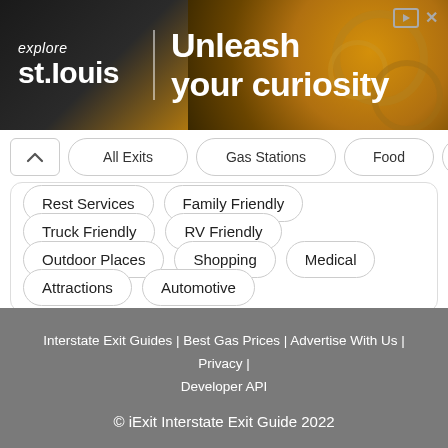[Figure (screenshot): Advertisement banner for Explore St. Louis with text 'Unleash your curiosity' on a dark/golden gear background]
Rest Services
Family Friendly
Truck Friendly
RV Friendly
Outdoor Places
Shopping
Medical
Attractions
Automotive
Interstate Exit Guides | Best Gas Prices | Advertise With Us | Privacy | Developer API
© iExit Interstate Exit Guide 2022